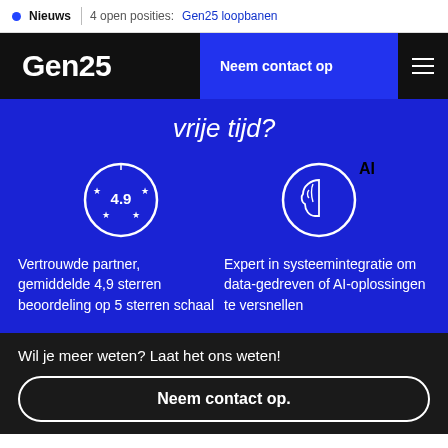Nieuws  4 open posities:  Gen25 loopbanen
Gen25
Neem contact op
vrije tijd?
[Figure (illustration): Circle icon with stars and rating 4.9 in the center]
Vertrouwde partner, gemiddelde 4,9 sterren beoordeling op 5 sterren schaal
[Figure (illustration): Circle icon with AI brain graphic and text AI]
Expert in systeemintegratie om data-gedreven of AI-oplossingen te versnellen
Wil je meer weten? Laat het ons weten!
Neem contact op.